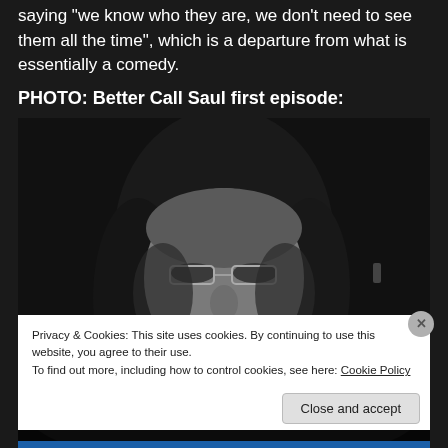saying “we know who they are, we don’t need to see them all the time”, which is a departure from what is essentially a comedy.
PHOTO: Better Call Saul first episode:
[Figure (photo): Black and white photo of a man with long hair, glasses, and a mustache, lying back in a dark scene from Better Call Saul first episode.]
Privacy & Cookies: This site uses cookies. By continuing to use this website, you agree to their use.
To find out more, including how to control cookies, see here: Cookie Policy
Close and accept